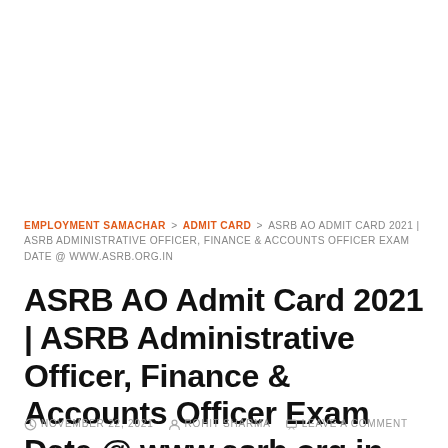EMPLOYMENT SAMACHAR > ADMIT CARD > ASRB AO ADMIT CARD 2021 | ASRB ADMINISTRATIVE OFFICER, FINANCE & ACCOUNTS OFFICER EXAM DATE @ WWW.ASRB.ORG.IN
ASRB AO Admit Card 2021 | ASRB Administrative Officer, Finance & Accounts Officer Exam Date @ www.asrb.org.in
NOVEMBER 22, 2021   ROHIT SHARMA   LEAVE A COMMENT